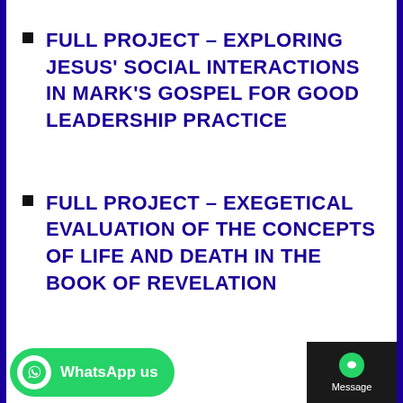FULL PROJECT – EXPLORING JESUS' SOCIAL INTERACTIONS IN MARK'S GOSPEL FOR GOOD LEADERSHIP PRACTICE
FULL PROJECT – EXEGETICAL EVALUATION OF THE CONCEPTS OF LIFE AND DEATH IN THE BOOK OF REVELATION
FULL PROJECT – ETHICS IN THE NEW CREATION: A PERSPECTIVE FROM PA...